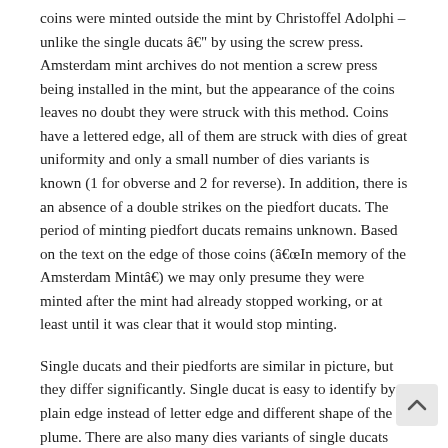coins were minted outside the mint by Christoffel Adolphi – unlike the single ducats â€" by using the screw press. Amsterdam mint archives do not mention a screw press being installed in the mint, but the appearance of the coins leaves no doubt they were struck with this method. Coins have a lettered edge, all of them are struck with dies of great uniformity and only a small number of dies variants is known (1 for obverse and 2 for reverse). In addition, there is an absence of a double strikes on the piedfort ducats. The period of minting piedfort ducats remains unknown. Based on the text on the edge of those coins (â€œIn memory of the Amsterdam Mintâ€) we may only presume they were minted after the mint had already stopped working, or at least until it was clear that it would stop minting.
Single ducats and their piedforts are similar in picture, but they differ significantly. Single ducat is easy to identify by plain edge instead of letter edge and different shape of the plume. There are also many dies variants of single ducats (six varieties for each side), probably because the work had to be done in a hurry by unskilled minters. Further on, planchets used for minting piedfort ducats were similar in diameter but considerably thicker than those used for minting single ducats. Therefore it was possible to mint piedfort ducats with the lettered edge.